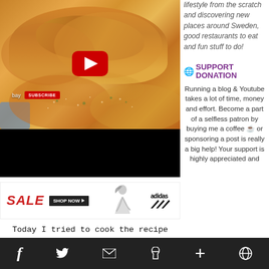[Figure (screenshot): YouTube video thumbnail showing golden baked onion bread rolls with herbs, with a red YouTube play button in the center, subscribe button overlay, and black video player bar below]
lifestyle from the scratch and discovering new places around Sweden, good restaurants to eat and fun stuff to do!
[Figure (other): Adidas SALE advertisement banner with red SALE text, SHOP NOW button, woman athlete silhouette, and Adidas logo]
🌐 SUPPORT DONATION
Running a blog & Youtube takes a lot of time, money and effort. Become a part of a selfless patron by buying me a coffee ☕ or sponsoring a post is really a big help! Your support is highly appreciated and
Today I tried to cook the recipe ONION BREAD by LUTONG TINAPAY on youtube! Shoutout to Lutong Tinapay for your
f  🐦  ✉  p  +  ⊕